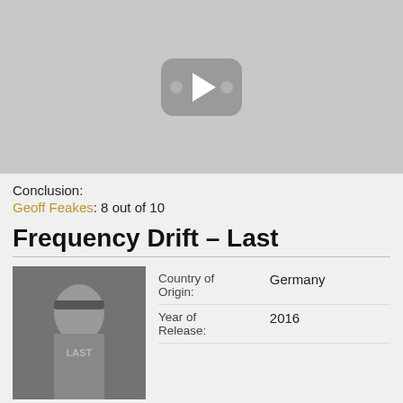[Figure (screenshot): YouTube-style video thumbnail placeholder with play button icon on grey background]
Conclusion:
Geoff Feakes: 8 out of 10
Frequency Drift - Last
|  |  |
| --- | --- |
| Country of Origin: | Germany |
| Year of Release: | 2016 |